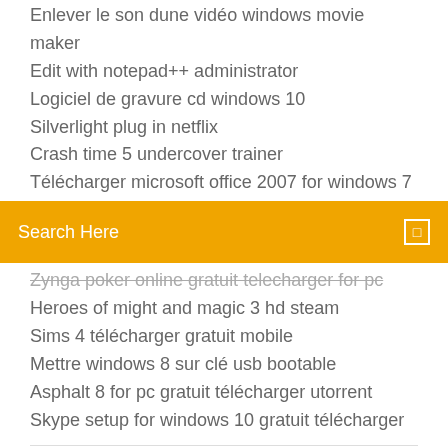Enlever le son dune vidéo windows movie maker
Edit with notepad++ administrator
Logiciel de gravure cd windows 10
Silverlight plug in netflix
Crash time 5 undercover trainer
Télécharger microsoft office 2007 for windows 7
Search Here
Zynga poker online gratuit telecharger for pc
Heroes of might and magic 3 hd steam
Sims 4 télécharger gratuit mobile
Mettre windows 8 sur clé usb bootable
Asphalt 8 for pc gratuit télécharger utorrent
Skype setup for windows 10 gratuit télécharger
Create a Windows 8.1 installation disc or USB flash drive...
[Figure (other): Social media icons: Facebook, Twitter, globe/dribbble, Behance]